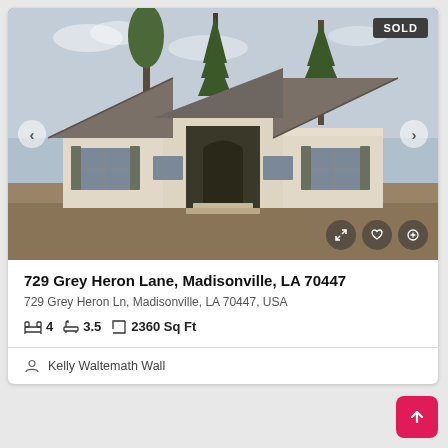[Figure (photo): Exterior photo of a newly constructed single-story brick home with gray shingle roofs and tall pine trees in background. SOLD badge in top-right corner. Navigation arrows on left and right. Action icons (expand, heart, add) in bottom-right corner.]
729 Grey Heron Lane, Madisonville, LA 70447
729 Grey Heron Ln, Madisonville, LA 70447, USA
4 beds  3.5 baths  2360 Sq Ft
Kelly Waltemath Wall